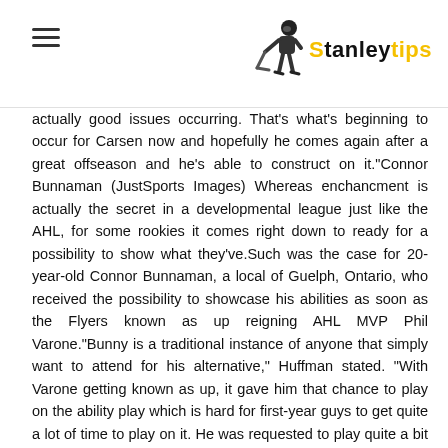Stanleytips
actually good issues occurring. That's what's beginning to occur for Carsen now and hopefully he comes again after a great offseason and he's able to construct on it."Connor Bunnaman (JustSports Images) Whereas enchancment is actually the secret in a developmental league just like the AHL, for some rookies it comes right down to ready for a possibility to show what they've.Such was the case for 20-year-old Connor Bunnaman, a local of Guelph, Ontario, who received the possibility to showcase his abilities as soon as the Flyers known as up reigning AHL MVP Phil Varone."Bunny is a traditional instance of anyone that simply want to attend for his alternative," Huffman stated. "With Varone getting known as up, it gave him that chance to play on the ability play which is hard for first-year guys to get quite a lot of time to play on it. He was requested to play quite a bit greater position than we supposed him to play at that time within the 12 months, however he's the kind of child that simply loves to return to the rink, has enjoyable and pays consideration. He actually ran